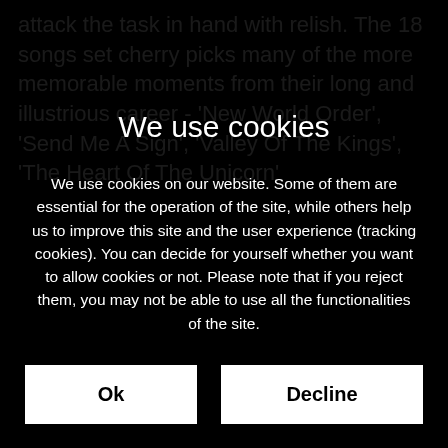attack the task in hand with relish. The 18 songs set cherry picks many of the more memorable moments from their long and illustrious career - ‘New World Order’, ‘Send Me A Sign’, ‘Valley Of The Kings’, ‘The Heart Of The Unicorn’
We use cookies
We use cookies on our website. Some of them are essential for the operation of the site, while others help us to improve this site and the user experience (tracking cookies). You can decide for yourself whether you want to allow cookies or not. Please note that if you reject them, you may not be able to use all the functionalities of the site.
Ok
Decline
More information